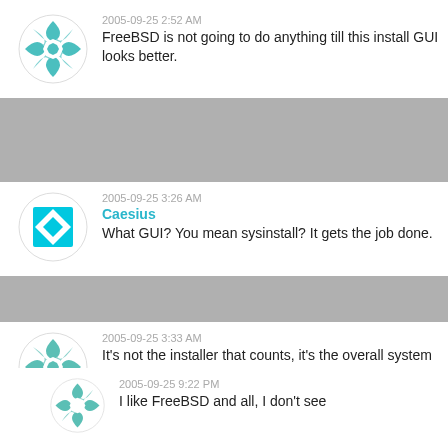2005-09-25 2:52 AM
FreeBSD is not going to do anything till this install GUI looks better.
2005-09-25 3:26 AM
Caesius
What GUI? You mean sysinstall? It gets the job done.
2005-09-25 3:33 AM
It's not the installer that counts, it's the overall system design (basic utils, sysadmin utils, package manager, security utils, desktop apps).
2005-09-25 9:22 PM
I like FreeBSD and all, I don't see